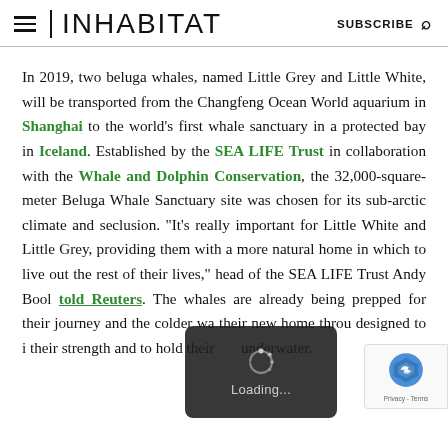INHABITAT | SUBSCRIBE
In 2019, two beluga whales, named Little Grey and Little White, will be transported from the Changfeng Ocean World aquarium in Shanghai to the world’s first whale sanctuary in a protected bay in Iceland. Established by the SEA LIFE Trust in collaboration with the Whale and Dolphin Conservation, the 32,000-square-meter Beluga Whale Sanctuary site was chosen for its sub-arctic climate and seclusion. “It’s really important for Little White and Little Grey, providing them with a more natural home in which to live out the rest of their lives,” head of the SEA LIFE Trust Andy Bool told Reuters. The whales are already being prepped for their journey and the colder wa... their new home throu... designed to i... their strength and t... o hold their ... underwater.
[Figure (other): Loading spinner overlay (dark rounded rectangle with spinning loader icon and 'Loading...' text)]
[Figure (other): reCAPTCHA badge with logo and 'Privacy - Terms' text]